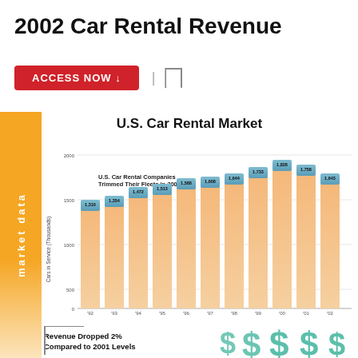2002 Car Rental Revenue
ACCESS NOW ↓
U.S. Car Rental Market
[Figure (bar-chart): U.S. Car Rental Companies Trimmed Their Fleets in 2002]
Revenue Dropped 2% Compared to 2001 Levels